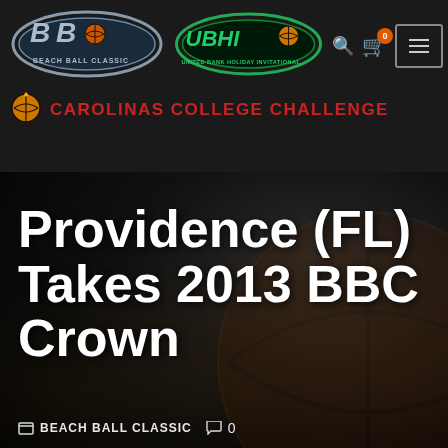[Figure (logo): Beach Ball Classic (BBC) logo - silver/grey oval with basketball, text 'BEACH BALL CLASSIC']
[Figure (logo): United Bank Holiday Invitational (UBHI) logo - green oval with basketball, text 'UNITED BANK HOLIDAY INVITATIONAL']
[Figure (logo): Carolinas College Challenge logo - basketball icon with red text 'CAROLINAS COLLEGE CHALLENGE']
Providence (FL) Takes 2013 BBC Crown
BEACH BALL CLASSIC   0